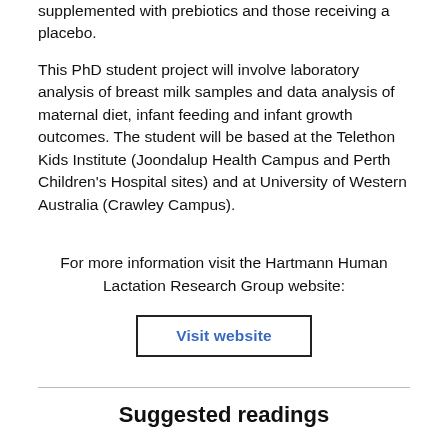composition and infant growth in women supplemented with prebiotics and those receiving a placebo.
This PhD student project will involve laboratory analysis of breast milk samples and data analysis of maternal diet, infant feeding and infant growth outcomes. The student will be based at the Telethon Kids Institute (Joondalup Health Campus and Perth Children's Hospital sites) and at University of Western Australia (Crawley Campus).
For more information visit the Hartmann Human Lactation Research Group website:
Visit website
Suggested readings